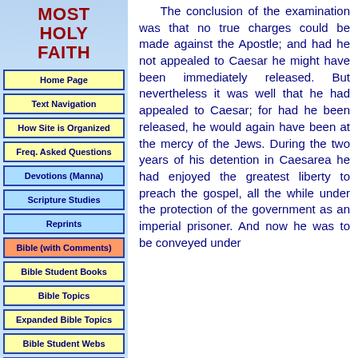MOST HOLY FAITH
Home Page
Text Navigation
How Site is Organized
Freq. Asked Questions
Devotions (Manna)
Scripture Studies
Reprints
Bible (with Comments)
Bible Student Books
Bible Topics
Expanded Bible Topics
Bible Student Webs
Miscellaneous
The conclusion of the examination was that no true charges could be made against the Apostle; and had he not appealed to Caesar he might have been immediately released. But nevertheless it was well that he had appealed to Caesar; for had he been released, he would again have been at the mercy of the Jews. During the two years of his detention in Caesarea he had enjoyed the greatest liberty to preach the gospel, all the while under the protection of the government as an imperial prisoner. And now he was to be conveyed under